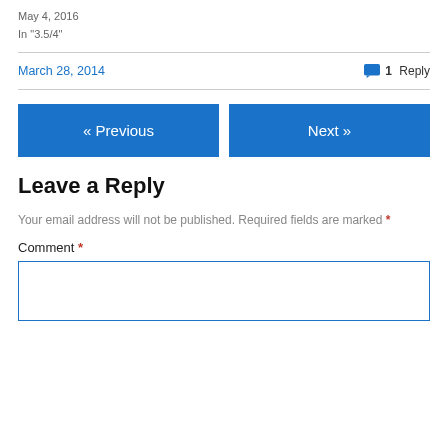May 4, 2016
In "3.5/4"
March 28, 2014
1 Reply
« Previous
Next »
Leave a Reply
Your email address will not be published. Required fields are marked *
Comment *